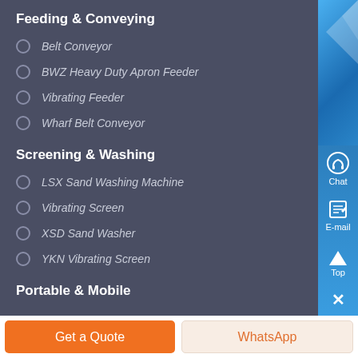Feeding & Conveying
Belt Conveyor
BWZ Heavy Duty Apron Feeder
Vibrating Feeder
Wharf Belt Conveyor
Screening & Washing
LSX Sand Washing Machine
Vibrating Screen
XSD Sand Washer
YKN Vibrating Screen
Portable & Mobile
Get a Quote
WhatsApp